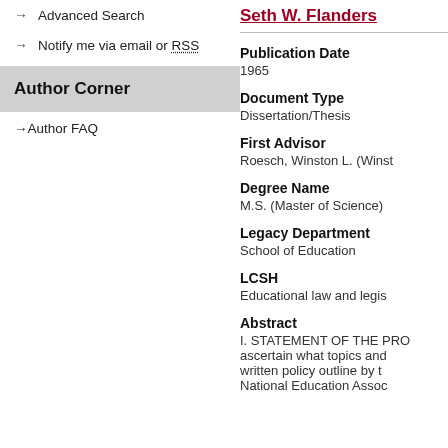→ Advanced Search
→ Notify me via email or RSS
Author Corner
→ Author FAQ
Seth W. Flanders
Publication Date
1965
Document Type
Dissertation/Thesis
First Advisor
Roesch, Winston L. (Winst
Degree Name
M.S. (Master of Science)
Legacy Department
School of Education
LCSH
Educational law and legis
Abstract
I. STATEMENT OF THE PRO ascertain what topics and written policy outline by t National Education Assoc